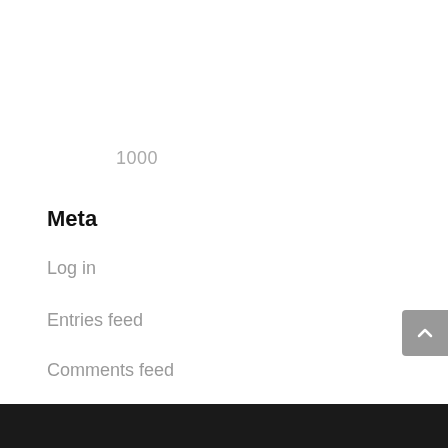1000
Meta
Log in
Entries feed
Comments feed
WordPress.org